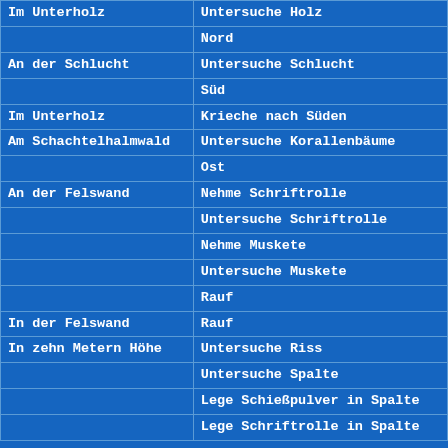| Location | Action |
| --- | --- |
| Im Unterholz | Untersuche Holz |
|  | Nord |
| An der Schlucht | Untersuche Schlucht |
|  | Süd |
| Im Unterholz | Krieche nach Süden |
| Am Schachtelhalmwald | Untersuche Korallenbäume |
|  | Ost |
| An der Felswand | Nehme Schriftrolle |
|  | Untersuche Schriftrolle |
|  | Nehme Muskete |
|  | Untersuche Muskete |
|  | Rauf |
| In der Felswand | Rauf |
| In zehn Metern Höhe | Untersuche Riss |
|  | Untersuche Spalte |
|  | Lege Schießpulver in Spalte |
|  | Lege Schriftrolle in Spalte |